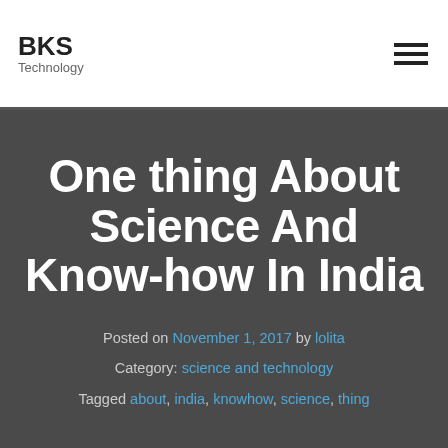BKS Technology
One thing About Science And Know-how In India
Posted on November 1, 2017 by lolita
Category: science and technology
Tagged about, india, knowhow, science, thing